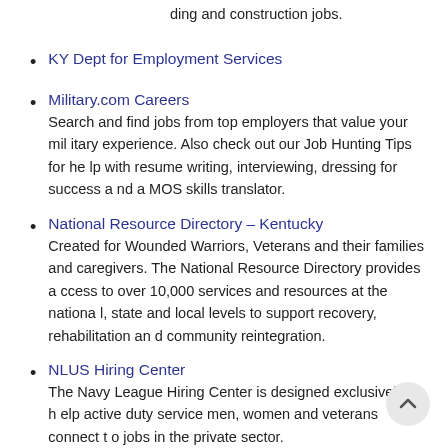ding and construction jobs.
KY Dept for Employment Services
Military.com Careers
Search and find jobs from top employers that value your military experience. Also check out our Job Hunting Tips for help with resume writing, interviewing, dressing for success and a MOS skills translator.
National Resource Directory – Kentucky
Created for Wounded Warriors, Veterans and their families and caregivers. The National Resource Directory provides access to over 10,000 services and resources at the national, state and local levels to support recovery, rehabilitation and community reintegration.
NLUS Hiring Center
The Navy League Hiring Center is designed exclusively to help active duty service men, women and veterans connect to jobs in the private sector.
RecruitMilitary
RecruitMilitary is a free and comprehensive service for all v